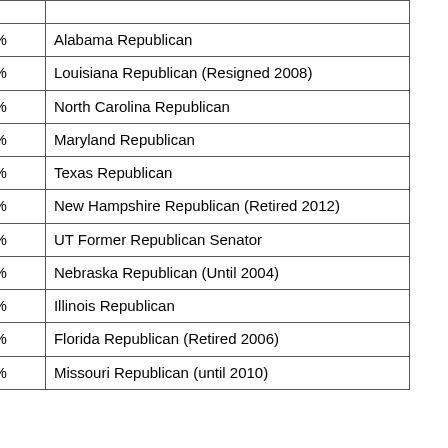| Name | Score | Info |
| --- | --- | --- |
| Spencer Bachus | s3n10% | Alabama Republican |
| Richard Hugh Baker | s3n30% | Louisiana Republican (Resigned 2008) |
| Cass Ballenger | s3n20% | North Carolina Republican |
| Roscoe Bartlett | s3n30% | Maryland Republican |
| Joe Linus Barton | s3n20% | Texas Republican |
| Charlie Bass | s3n30% | New Hampshire Republican (Retired 2012) |
| Robert Bennett | s3n25% | UT Former Republican Senator |
| Doug Bereuter | s2n40% | Nebraska Republican (Until 2004) |
| Judy Biggert | s3n30% | Illinois Republican |
| Michael Bilirakis | s3n30% | Florida Republican (Retired 2006) |
| Roy Blunt | s3n20% | Missouri Republican (until 2010) |